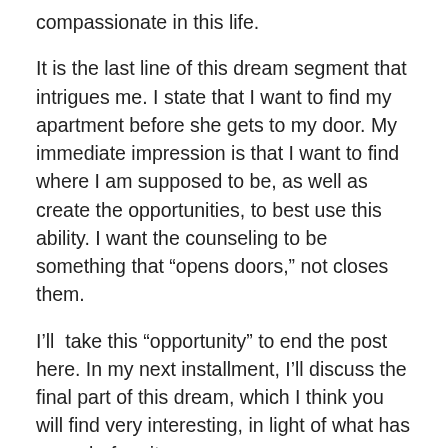compassionate in this life.
It is the last line of this dream segment that intrigues me. I state that I want to find my apartment before she gets to my door. My immediate impression is that I want to find where I am supposed to be, as well as create the opportunities, to best use this ability. I want the counseling to be something that “opens doors,” not closes them.
I’ll  take this “opportunity” to end the post here. In my next installment, I’ll discuss the final part of this dream, which I think you will find very interesting, in light of what has come before it.
I will also take the “opportunity” to discuss going beyond the interpretation process. While it is great to uncover the meaning of a dream, it is only useful if it is applied to your life.